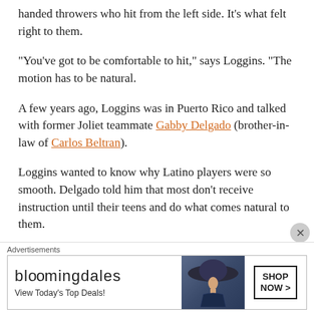handed throwers who hit from the left side. It’s what felt right to them.
“You’ve got to be comfortable to hit,” says Loggins. “The motion has to be natural.
A few years ago, Loggins was in Puerto Rico and talked with former Joliet teammate Gabby Delgado (brother-in-law of Carlos Beltran).
Loggins wanted to know why Latino players were so smooth. Delgado told him that most don’t receive instruction until their teens and do what comes natural to them.
“That kind of stuck with me at the time,” says Loggins. “If you
[Figure (screenshot): Bloomingdale's advertisement banner with logo, 'View Today’s Top Deals!' text, woman wearing a large hat, and 'SHOP NOW >' button]